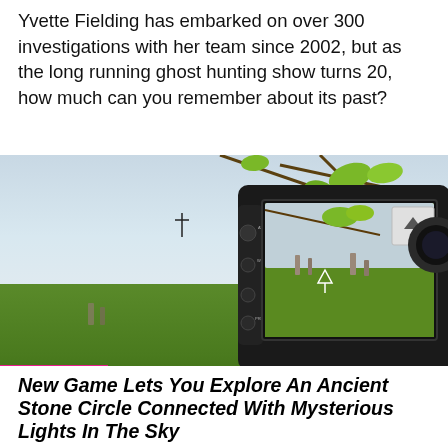Yvette Fielding has embarked on over 300 investigations with her team since 2002, but as the long running ghost hunting show turns 20, how much can you remember about its past?
[Figure (photo): A digital camcorder displaying a view of ancient standing stones in a green field on its LCD screen, with tree branches visible in the background. A pink GAMING label appears at the bottom left.]
New Game Lets You Explore An Ancient Stone Circle Connected With Mysterious Lights In The Sky